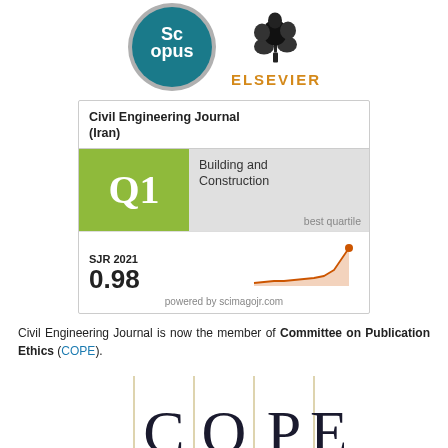[Figure (logo): Scopus logo badge (teal circular badge with white Scopus text) and Elsevier logo (tree illustration with ELSEVIER text in orange)]
[Figure (infographic): SCImago Journal Rank card showing Civil Engineering Journal (Iran), Q1 in Building and Construction (best quartile), SJR 2021 value of 0.98 with a rising trend line chart, powered by scimagojr.com]
Civil Engineering Journal is now the member of Committee on Publication Ethics (COPE).
[Figure (logo): COPE logo showing letters C O P E separated by vertical lines in a serif font]